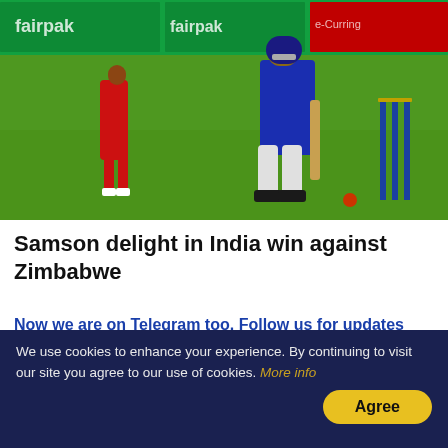[Figure (photo): Cricket match action photo showing a batsman in blue Indian cricket uniform playing a shot near the stumps, with a fielder in red Zimbabwe kit visible in the background, on a green field with advertising boards]
Samson delight in India win against Zimbabwe
Now we are on Telegram too. Follow us for updates
[Figure (photo): Small thumbnail image of a person]
9 Iconic Roles Nobo...
We use cookies to enhance your experience. By continuing to visit our site you agree to our use of cookies. More info
Agree